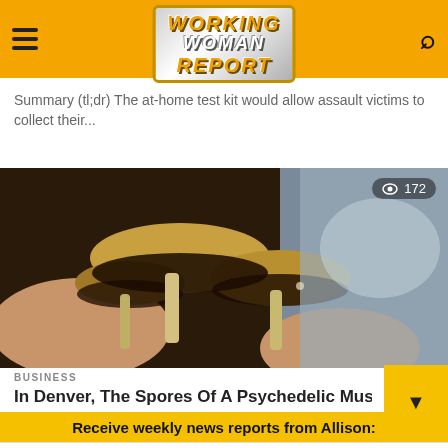Working Woman Report
Summary (tl;dr) The at-home test kit would allow assault victims to collect their...
[Figure (photo): Close-up photo of psychedelic mushrooms being held in a hand, with view count 172 overlaid in top right]
BUSINESS
In Denver, The Spores Of A Psychedelic Mushroom...
Receive weekly news reports from Allison:
Enter Your Email Here
Subscribe